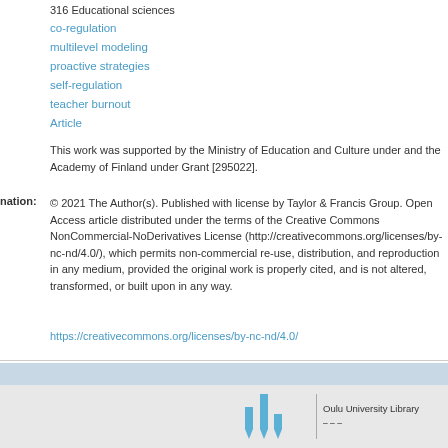316 Educational sciences
co-regulation
multilevel modeling
proactive strategies
self-regulation
teacher burnout
Article
This work was supported by the Ministry of Education and Culture under and the Academy of Finland under Grant [295022].
© 2021 The Author(s). Published with license by Taylor & Francis Group. Open Access article distributed under the terms of the Creative Commons NonCommercial-NoDerivatives License (http://creativecommons.org/licenses/by-nc-nd/4.0/), which permits non-commercial re-use, distribution, and reproduction in any medium, provided the original work is properly cited, and is not altered, transformed, or built upon in any way.
https://creativecommons.org/licenses/by-nc-nd/4.0/
Oulu University Library